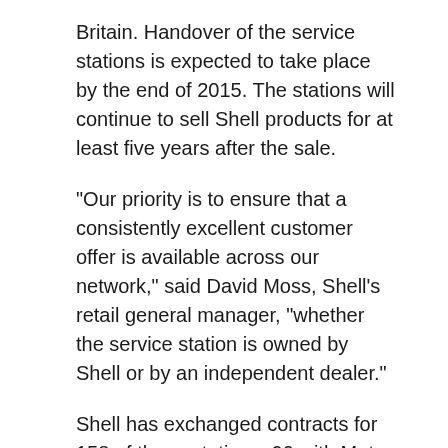Britain. Handover of the service stations is expected to take place by the end of 2015. The stations will continue to sell Shell products for at least five years after the sale.
“Our priority is to ensure that a consistently excellent customer offer is available across our network,” said David Moss, Shell’s retail general manager, “whether the service station is owned by Shell or by an independent dealer.”
Shell has exchanged contracts for 158 of these stations, 90 with Motor Fuel Group (MFG) and 68 with Euro Garages.
MFG is one of the UK’s leading independent forecourt operators, with a combined company station network of 284 stations. It is the second largest independent realer in the UK. MFG company stations operate